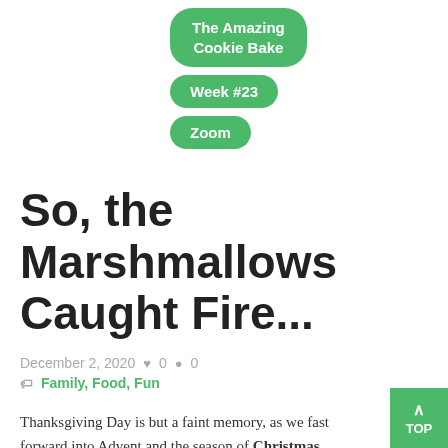The Amazing Cookie Bake
Week #23
Zoom
So, the Marshmallows Caught Fire...
December 2, 2020   ♥ 0   ● 0
Family, Food, Fun
Thanksgiving Day is but a faint memory, as we fast forward into Advent and the season of Christmas.